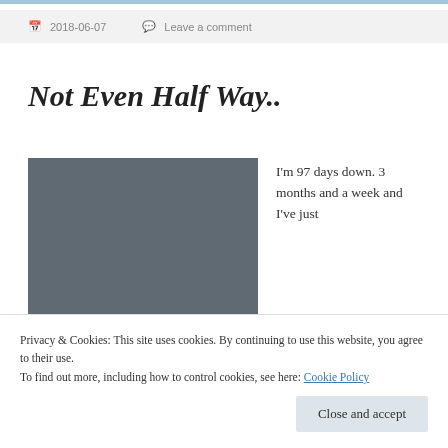2018-06-07   Leave a comment
Not Even Half Way..
[Figure (photo): Dark grey image placeholder with bold white text 'YOU MAY HAVE' visible at the bottom]
I'm 97 days down. 3 months and a week and I've just haven't felt
Privacy & Cookies: This site uses cookies. By continuing to use this website, you agree to their use.
To find out more, including how to control cookies, see here: Cookie Policy
Close and accept